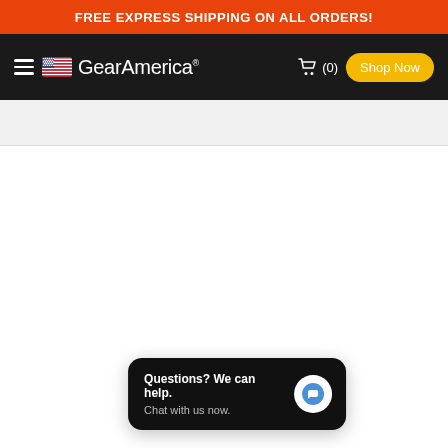FREE EXPRESS SHIPPING ON ALL ORDERS!
[Figure (logo): GearAmerica logo with US flag icon, hamburger menu, cart icon with (0), and Shop Now button on dark navbar]
[Figure (screenshot): Light gray search bar area below the navbar]
Questions? We can help. Chat with us now.